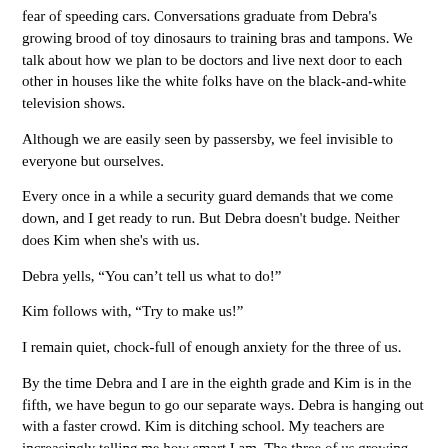fear of speeding cars. Conversations graduate from Debra's growing brood of toy dinosaurs to training bras and tampons. We talk about how we plan to be doctors and live next door to each other in houses like the white folks have on the black-and-white television shows.
Although we are easily seen by passersby, we feel invisible to everyone but ourselves.
Every once in a while a security guard demands that we come down, and I get ready to run. But Debra doesn't budge. Neither does Kim when she's with us.
Debra yells, “You can’t tell us what to do!”
Kim follows with, “Try to make us!”
I remain quiet, chock-full of enough anxiety for the three of us.
By the time Debra and I are in the eighth grade and Kim is in the fifth, we have begun to go our separate ways. Debra is hanging out with a faster crowd. Kim is ditching school. My teachers are increasingly telling me how smart I am. The three of us growing up scares me, but not nearly as much as us growing apart. As children, we had moved freely around our world of low-slung public housing and gated high-rise developments. But right around